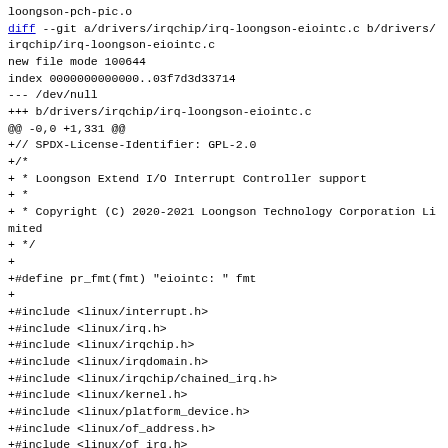loongson-pch-pic.o
diff --git a/drivers/irqchip/irq-loongson-eiointc.c b/drivers/irqchip/irq-loongson-eiointc.c
new file mode 100644
index 0000000000000..03f7d3d33714
--- /dev/null
+++ b/drivers/irqchip/irq-loongson-eiointc.c
@@ -0,0 +1,331 @@
+// SPDX-License-Identifier: GPL-2.0
+/*
+ * Loongson Extend I/O Interrupt Controller support
+ *
+ * Copyright (C) 2020-2021 Loongson Technology Corporation Limited
+ */
+
+#define pr_fmt(fmt) "eiointc: " fmt
+
+#include <linux/interrupt.h>
+#include <linux/irq.h>
+#include <linux/irqchip.h>
+#include <linux/irqdomain.h>
+#include <linux/irqchip/chained_irq.h>
+#include <linux/kernel.h>
+#include <linux/platform_device.h>
+#include <linux/of_address.h>
+#include <linux/of_irq.h>
+#include <linux/of_platform.h>
+#include <linux/syscore_ops.h>